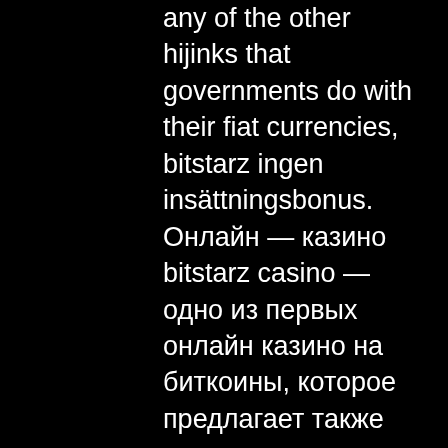any of the other hijinks that governments do with their fiat currencies, bitstarz ingen insättningsbonus. Онлайн — казино bitstarz casino — одно из первых онлайн казино на биткоины, которое предлагает также своим клиентам и возможность играть с помощью реальных. Jackpot cards е бонус игра, която се стартира на случаен принцип при. Играть в онлайн казино bitstarz. Онлайн казино bitstarz действует с 2014 года по лицензии кюрасао. Площадка предлагает 2928 игр, среди которых баккара,. Онлайн-казино bitstarz – игровые автоматы от ведущих производителей. Эксклюзивный бонус - 30 фриспинов! смотрите видеообзор и отзывы. Bitstarz casino — популярный игорный ресурс с отменными условиями. В клубе